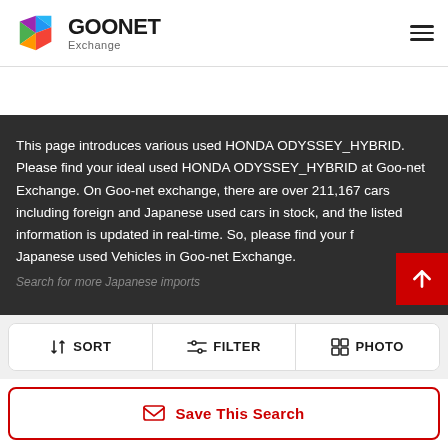[Figure (logo): Goonet Exchange logo with colorful hexagon icon and bold GOONET text with Exchange subtitle]
This page introduces various used HONDA ODYSSEY_HYBRID. Please find your ideal used HONDA ODYSSEY_HYBRID at Goo-net Exchange. On Goo-net exchange, there are over 211,167 cars including foreign and Japanese used cars in stock, and the listed information is updated in real-time. So, please find your favorite Japanese used Vehicles in Goo-net Exchange.
Search for more Japanese imports
SORT   FILTER   PHOTO
Save This Search